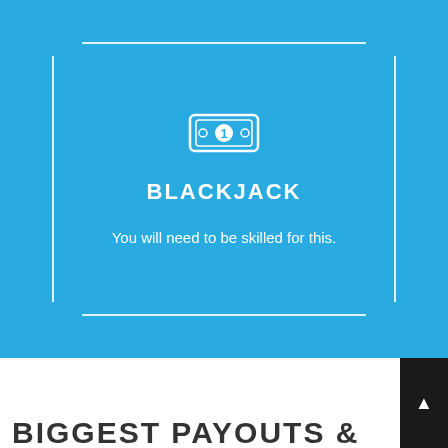[Figure (infographic): Blue background card with a white money/dollar bill icon at the top, bold white uppercase text 'BLACKJACK', and descriptive text 'You will need to be skilled for this.' inside a white-bordered rectangle with corner gaps.]
BIGGEST PAYOUTS &